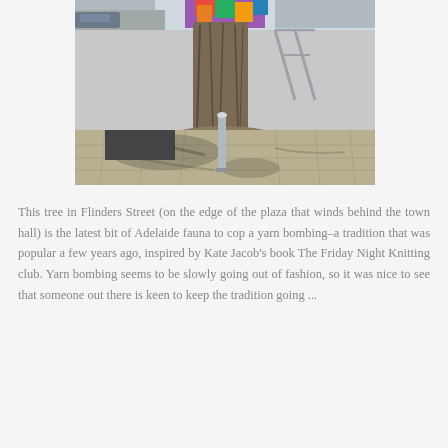[Figure (photo): Outdoor photo of a tree in Flinders Street on the edge of a plaza. The tree trunk is wrapped with colorful yarn bombing (knitted fabrics) at the top. A metal bollard is visible in front of the tree on a paved sidewalk. Shadows of tree branches are cast on the pavement. Street and buildings are visible in the background.]
This tree in Flinders Street (on the edge of the plaza that winds behind the town hall) is the latest bit of Adelaide fauna to cop a yarn bombing–a tradition that was popular a few years ago, inspired by Kate Jacob's book The Friday Night Knitting club. Yarn bombing seems to be slowly going out of fashion, so it was nice to see that someone out there is keen to keep the tradition going ...